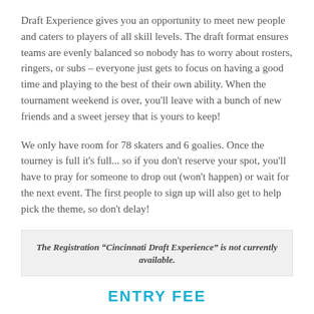Draft Experience gives you an opportunity to meet new people and caters to players of all skill levels. The draft format ensures teams are evenly balanced so nobody has to worry about rosters, ringers, or subs – everyone just gets to focus on having a good time and playing to the best of their own ability. When the tournament weekend is over, you'll leave with a bunch of new friends and a sweet jersey that is yours to keep!
We only have room for 78 skaters and 6 goalies. Once the tourney is full it's full... so if you don't reserve your spot, you'll have to pray for someone to drop out (won't happen) or wait for the next event. The first people to sign up will also get to help pick the theme, so don't delay!
The Registration "Cincinnati Draft Experience" is not currently available.
ENTRY FEE